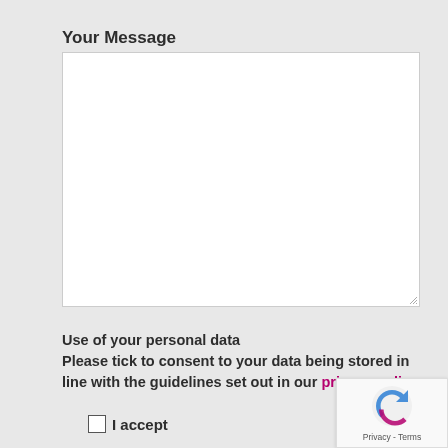Your Message
[Figure (other): Empty white textarea input box with resize handle at bottom right]
Use of your personal data
Please tick to consent to your data being stored in line with the guidelines set out in our privacy policy.
I accept
[Figure (other): reCAPTCHA badge with logo and Privacy - Terms text]